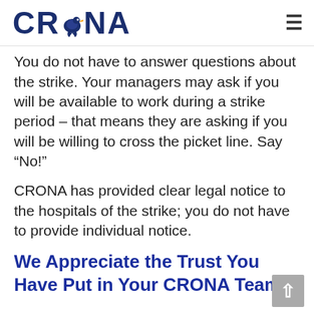CRONA
You do not have to answer questions about the strike. Your managers may ask if you will be available to work during a strike period – that means they are asking if you will be willing to cross the picket line. Say “No!”
CRONA has provided clear legal notice to the hospitals of the strike; you do not have to provide individual notice.
We Appreciate the Trust You Have Put in Your CRONA Team